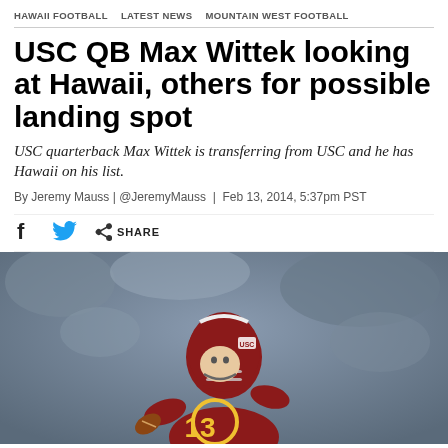HAWAII FOOTBALL   LATEST NEWS   MOUNTAIN WEST FOOTBALL
USC QB Max Wittek looking at Hawaii, others for possible landing spot
USC quarterback Max Wittek is transferring from USC and he has Hawaii on his list.
By Jeremy Mauss | @JeremyMauss | Feb 13, 2014, 5:37pm PST
[Figure (photo): USC quarterback wearing number 13 jersey and USC helmet, in a throwing position on the field]